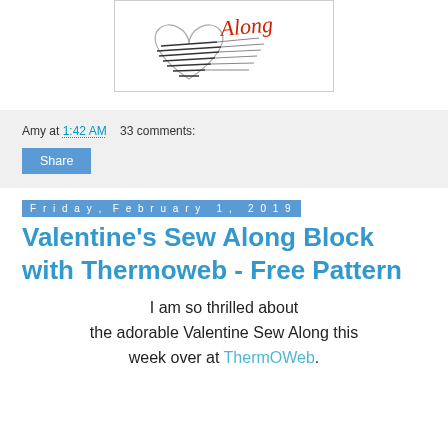[Figure (illustration): Partial view of a heart illustration with horizontal lines and red handwriting, inside a bordered box]
Amy at 1:42 AM    33 comments:
Share
Friday, February 1, 2019
Valentine's Sew Along Block with Thermoweb - Free Pattern
I am so thrilled about the adorable Valentine Sew Along this week over at ThermOWeb.